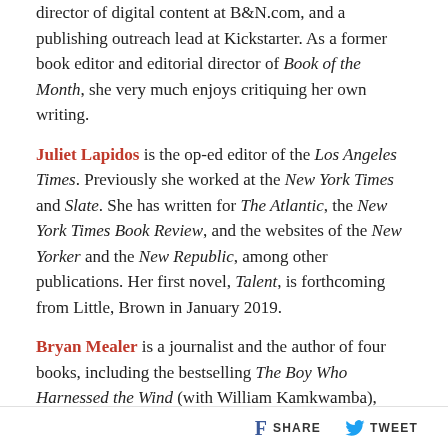director of digital content at B&N.com, and a publishing outreach lead at Kickstarter. As a former book editor and editorial director of Book of the Month, she very much enjoys critiquing her own writing.
Juliet Lapidos is the op-ed editor of the Los Angeles Times. Previously she worked at the New York Times and Slate. She has written for The Atlantic, the New York Times Book Review, and the websites of the New Yorker and the New Republic, among other publications. Her first novel, Talent, is forthcoming from Little, Brown in January 2019.
Bryan Mealer is a journalist and the author of four books, including the bestselling The Boy Who Harnessed the Wind (with William Kamkwamba), soon to be a major film, and The Kings of Big Spring: God, Oil, and One Family's Search for the American Dream. He lives in Austin.
Ismail Muhammad is a writer and critic living in Oakland,
SHARE   TWEET